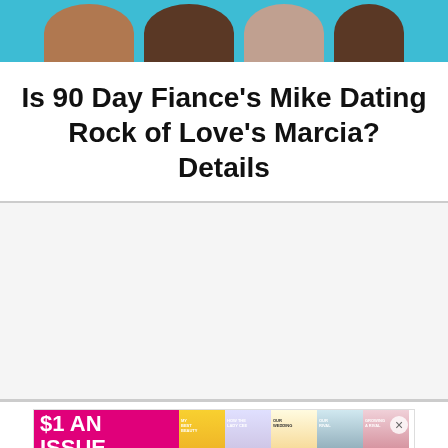[Figure (photo): Photo strip at top showing people's heads/shoulders against a teal/blue water background]
Is 90 Day Fiance's Mike Dating Rock of Love's Marcia? Details
[Figure (photo): Advertisement banner: $1 AN ISSUE SUBSCRIBE NOW with Us Weekly magazine covers showing celebrities]